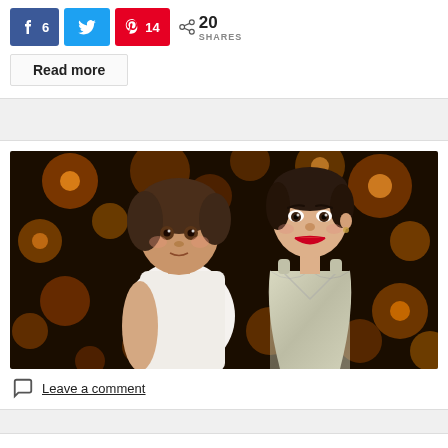[Figure (infographic): Social share buttons: Facebook (6 shares), Twitter, Pinterest (14 shares), and total 20 SHARES icon]
Read more
[Figure (photo): A young girl in a white sleeveless top and a smiling woman in a silver dress with red lipstick, posed together against a warm bokeh background]
Leave a comment